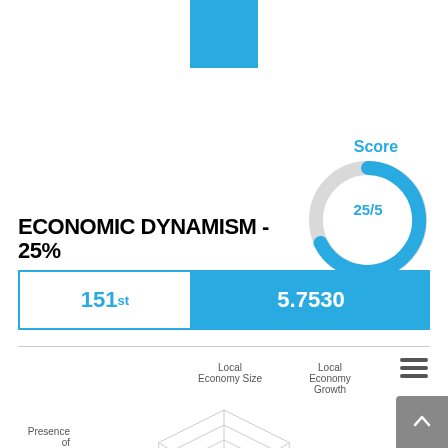[Figure (other): Blue square logo/icon at top center of page]
[Figure (donut-chart): Score]
ECONOMIC DYNAMISM - 25%
| Rank | Score |
| --- | --- |
| 151st | 5.7530 |
[Figure (radar-chart): Radar chart showing subcategories: Local Economy Size, Local Economy Growth, Local Economy Structure, Safety Compliance Business, productivity, Presence of Business and Professional Organizations. Data point visible near center-bottom area.]